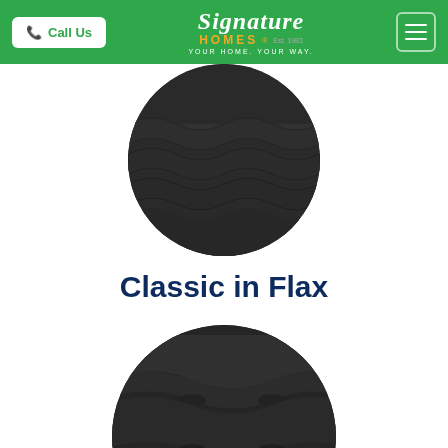Call Us | Signature Homes - Your Home. Your Way.
[Figure (photo): Circular cropped close-up photo of dark/charcoal roof tiles, partially cut off at top of frame]
Classic in Flax
[Figure (photo): Circular cropped close-up photo of dark/charcoal roof tiles with curved ridges, lower portion of page]